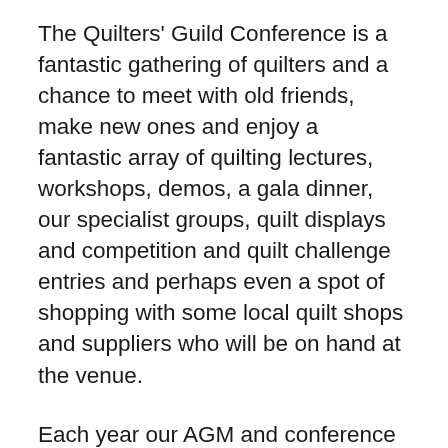The Quilters' Guild Conference is a fantastic gathering of quilters and a chance to meet with old friends, make new ones and enjoy a fantastic array of quilting lectures, workshops, demos, a gala dinner, our specialist groups, quilt displays and competition and quilt challenge entries and perhaps even a spot of shopping with some local quilt shops and suppliers who will be on hand at the venue.
Each year our AGM and conference travels the UK to a different town or city and is brought to you through the hard work of many volunteers. Each year a local team will make sure you're able to